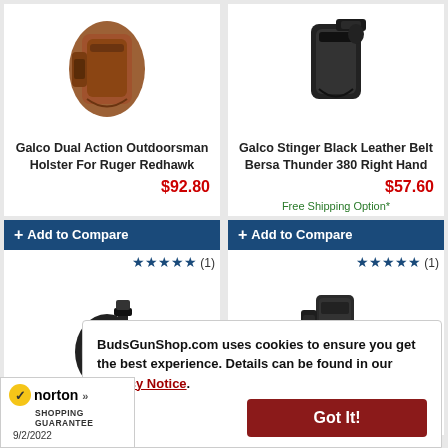[Figure (photo): Galco tan/brown leather holster for Ruger Redhawk, shown from side]
Galco Dual Action Outdoorsman Holster For Ruger Redhawk
$92.80
[Figure (photo): Galco black leather belt holster for Bersa Thunder 380]
Galco Stinger Black Leather Belt Bersa Thunder 380 Right Hand
$57.60
Free Shipping Option*
+ Add to Compare
★★★★★ (1)
[Figure (photo): Black polymer holster, circular/wheel style]
+ Add to Compare
★★★★★ (1)
[Figure (photo): Black tactical holster, upright style]
BudsGunShop.com uses cookies to ensure you get the best experience. Details can be found in our Privacy Notice.
Got It!